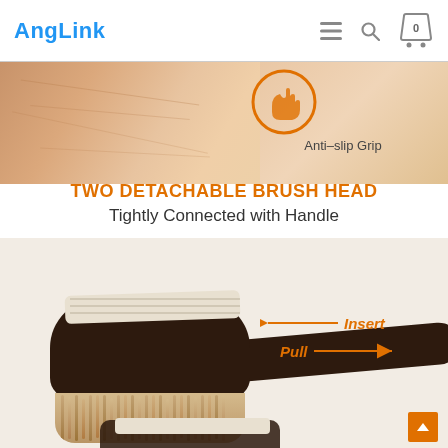AngLink
[Figure (photo): Close-up photo of a person's back/skin showing exfoliation, with an orange circle icon for Anti-slip Grip feature on the right side]
Anti-slip Grip
TWO DETACHABLE BRUSH HEAD
Tightly Connected with Handle
[Figure (photo): Product photo of a detachable body brush with dark wooden handle and natural bristles with a strap, with orange arrows labeled Insert (pointing left) and Pull (pointing right)]